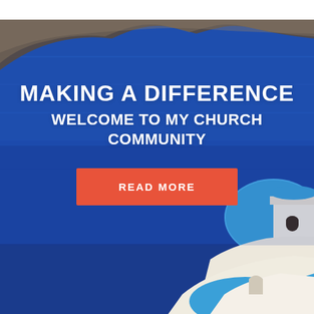[Figure (photo): Aerial/scenic photo of Santorini, Greece showing deep blue sea, volcanic cliffs in the background, and iconic white-and-blue domed Greek Orthodox church buildings in the foreground.]
MAKING A DIFFERENCE
WELCOME TO MY CHURCH COMMUNITY
READ MORE